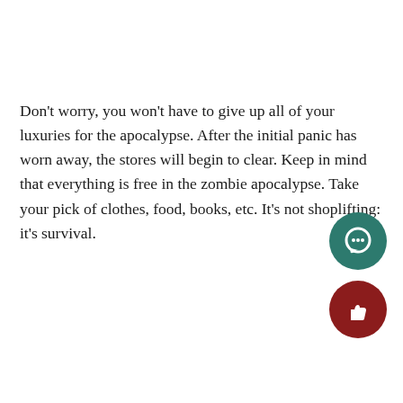Don't worry, you won't have to give up all of your luxuries for the apocalypse. After the initial panic has worn away, the stores will begin to clear. Keep in mind that everything is free in the zombie apocalypse. Take your pick of clothes, food, books, etc. It's not shoplifting: it's survival.
One final thing to keep in mind is to be apprehensive to meeting and trusting new people. Remember, zombies aren't the only monsters; people will do anything to survive, even if that means hurting others. Stay with your group and when you do meet new people, don't tell them too much. Protect your group at all costs.
The most important way to prepare for the zombie apocalypse is to make a perfect plan, but make sure you never share it with anyone. Once the apocalypse comes, the world will become a competition
[Figure (illustration): Green circle icon with speech bubble / chat symbol in white]
[Figure (illustration): Dark red circle icon with thumbs up symbol in white]